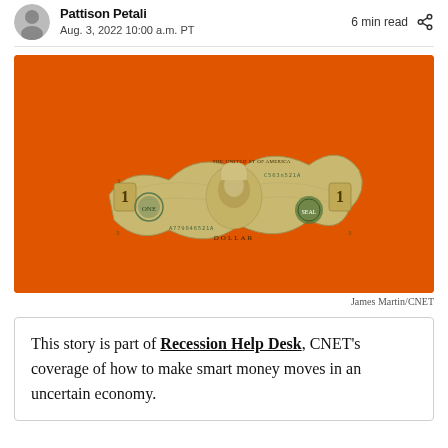Aug. 3, 2022 10:00 a.m. PT  |  6 min read
[Figure (photo): A crumpled US one dollar bill on an orange background]
James Martin/CNET
This story is part of Recession Help Desk, CNET's coverage of how to make smart money moves in an uncertain economy.